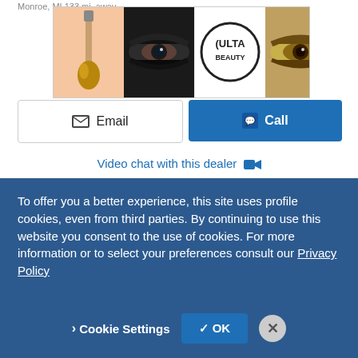Monroe, MI 133 mi. away
[Figure (screenshot): ULTA Beauty advertisement banner with makeup images and SHOP NOW text]
Email
Call
Video chat with this dealer
View our 9 other Pride Trucks locations
Look Now
[Figure (photo): Partial truck image]
To offer you a better experience, this site uses profile cookies, even from third parties. By continuing to use this website you consent to the use of cookies. For more information or to select your preferences consult our Privacy Policy
Cookie Settings
✓ OK